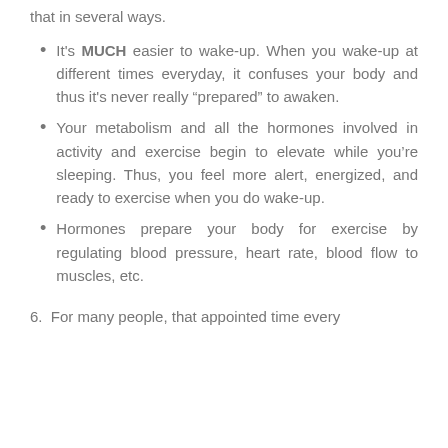that in several ways.
It's MUCH easier to wake-up. When you wake-up at different times everyday, it confuses your body and thus it's never really “prepared” to awaken.
Your metabolism and all the hormones involved in activity and exercise begin to elevate while you’re sleeping. Thus, you feel more alert, energized, and ready to exercise when you do wake-up.
Hormones prepare your body for exercise by regulating blood pressure, heart rate, blood flow to muscles, etc.
6.  For many people, that appointed time every